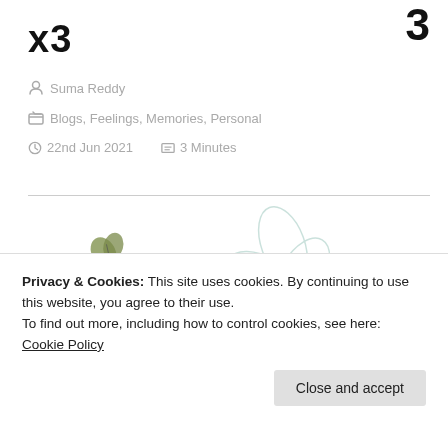x3
Suma Reddy
Blogs, Feelings, Memories, Personal
22nd Jun 2021   3 Minutes
[Figure (illustration): The Aesthete Blogger Award image with cursive text 'the aesthete blogger award', a flower outline, a small bird/butterfly, and an envelope, partially showing another award image below]
Privacy & Cookies: This site uses cookies. By continuing to use this website, you agree to their use.
To find out more, including how to control cookies, see here: Cookie Policy
Close and accept